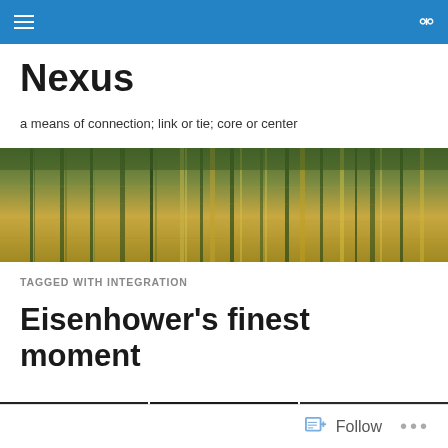Nexus — navigation bar with hamburger menu and search icon
Nexus
a means of connection; link or tie; core or center
[Figure (photo): Wide banner photograph of reeds or grasses reflected in still golden-brown water, creating vertical streaking reflections.]
TAGGED WITH INTEGRATION
Eisenhower's finest moment
[Figure (photo): Partial strip of black and white thumbnail images at the bottom of the page.]
Follow